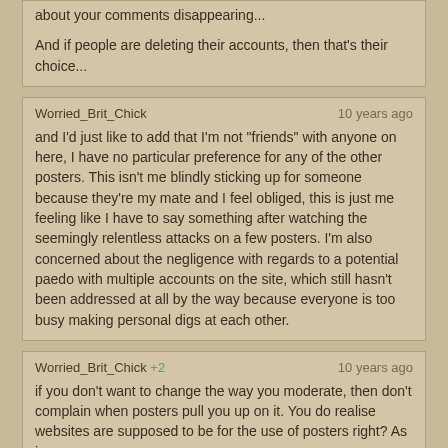about your comments disappearing...

And if people are deleting their accounts, then that's their choice...
Worried_Brit_Chick    10 years ago

and I'd just like to add that I'm not "friends" with anyone on here, I have no particular preference for any of the other posters. This isn't me blindly sticking up for someone because they're my mate and I feel obliged, this is just me feeling like I have to say something after watching the seemingly relentless attacks on a few posters. I'm also concerned about the negligence with regards to a potential paedo with multiple accounts on the site, which still hasn't been addressed at all by the way because everyone is too busy making personal digs at each other.
Worried_Brit_Chick +2    10 years ago

if you don't want to change the way you moderate, then don't complain when posters pull you up on it. You do realise websites are supposed to be for the use of posters right? As in